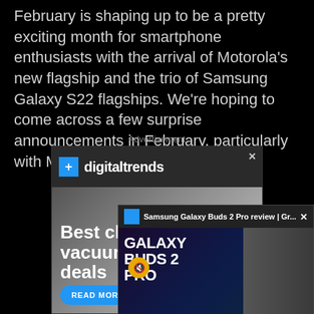February is shaping up to be a pretty exciting month for smartphone enthusiasts with the arrival of Motorola's new flagship and the trio of Samsung Galaxy S22 flagships. We're hoping to come across a few surprise announcements in February, particularly with MWC 2022 around the corner.
Advertisement
[Figure (screenshot): Advertisement banner for Digital Trends website showing 'Best choice vacuum deals' with a READ MORE button, overlaid by a video popup for 'Samsung Galaxy Buds 2 Pro review' showing Galaxy Buds 2 Pro text and a person holding earbuds]